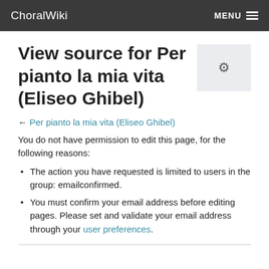ChoralWiki  MENU
View source for Per pianto la mia vita (Eliseo Ghibel)
← Per pianto la mia vita (Eliseo Ghibel)
You do not have permission to edit this page, for the following reasons:
The action you have requested is limited to users in the group: emailconfirmed.
You must confirm your email address before editing pages. Please set and validate your email address through your user preferences.